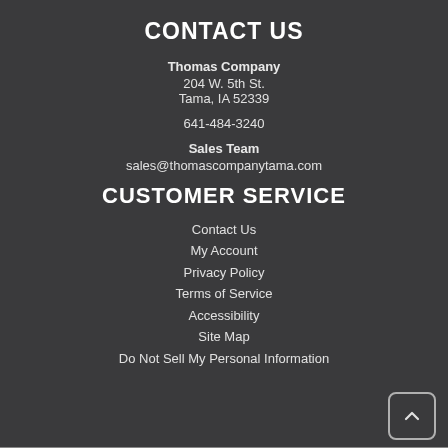CONTACT US
Thomas Company
204 W. 5th St.
Tama, IA 52339
641-484-3240
Sales Team
sales@thomascompanytama.com
CUSTOMER SERVICE
Contact Us
My Account
Privacy Policy
Terms of Service
Accessibility
Site Map
Do Not Sell My Personal Information